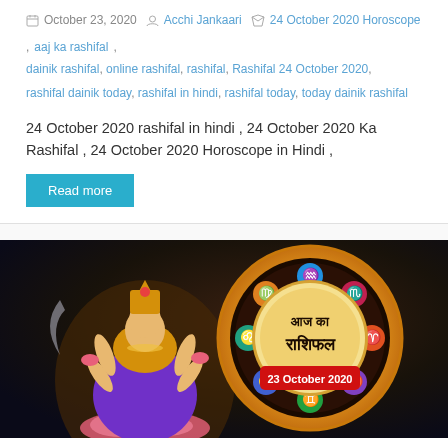October 23, 2020  Acchi Jankaari  24 October 2020 Horoscope, aaj ka rashifal, dainik rashifal, online rashifal, rashifal, Rashifal 24 October 2020, rashifal dainik today, rashifal in hindi, rashifal today, today dainik rashifal
24 October 2020 rashifal in hindi , 24 October 2020 Ka Rashifal , 24 October 2020 Horoscope in Hindi ,
Read more
[Figure (illustration): Horoscope banner image featuring a Hindu goddess (Lakshmi) seated on a lotus on the left side, and a circular zodiac wheel on the right with colorful zodiac sign icons. The center of the wheel reads 'आज का राशिफल' and below it a red banner reads '23 October 2020'. Background is dark with mystical lighting.]